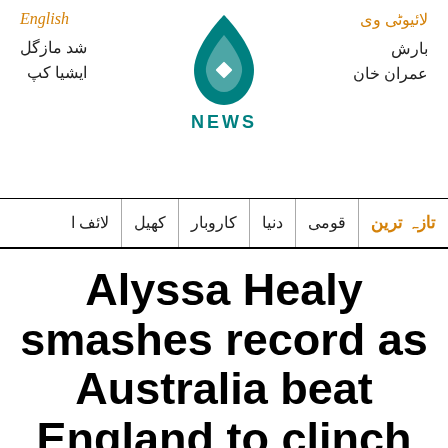English | لائیوٹی وی | شد مازگل | بارش | ایشیا کپ | عمران خان
[Figure (logo): Aaj News logo — teal flame/droplet icon with 'NEWS' text below in teal]
تازہ ترین | قومی | دنیا | کاروبار | کھیل | لائف ا
Alyssa Healy smashes record as Australia beat England to clinch